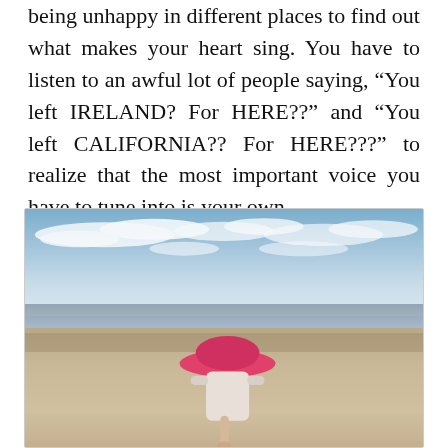being unhappy in different places to find out what makes your heart sing. You have to listen to an awful lot of people saying, “You left IRELAND? For HERE??” and “You left CALIFORNIA?? For HERE???” to realize that the most important voice you have to tune into is your own.
[Figure (photo): A young child wearing a large pink sun hat, bent over on a beach with flat wet sand, calm shallow water in the middle distance, and a blue sky with scattered white clouds above the horizon.]